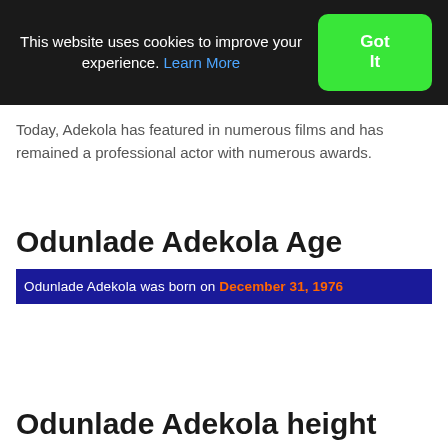This website uses cookies to improve your experience. Learn More  Got It
Today, Adekola has featured in numerous films and has remained a professional actor with numerous awards.
Odunlade Adekola Age
Odunlade Adekola was born on December 31, 1976
Odunlade Adekola height